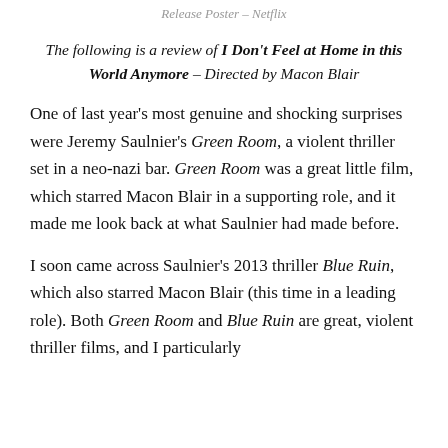Release Poster – Netflix
The following is a review of I Don't Feel at Home in this World Anymore – Directed by Macon Blair
One of last year's most genuine and shocking surprises were Jeremy Saulnier's Green Room, a violent thriller set in a neo-nazi bar. Green Room was a great little film, which starred Macon Blair in a supporting role, and it made me look back at what Saulnier had made before.
I soon came across Saulnier's 2013 thriller Blue Ruin, which also starred Macon Blair (this time in a leading role). Both Green Room and Blue Ruin are great, violent thriller films, and I particularly